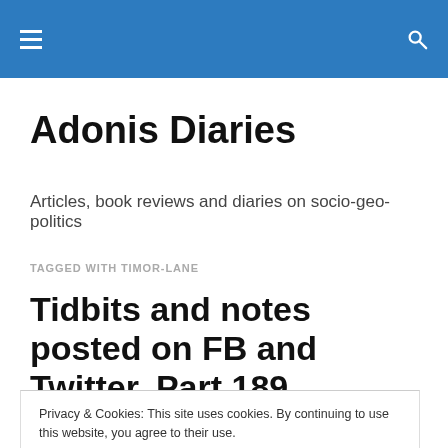Adonis Diaries — site navigation header
Adonis Diaries
Articles, book reviews and diaries on socio-geo-politics
TAGGED WITH TIMOR-LANE
Tidbits and notes posted on FB and Twitter. Part 189
Privacy & Cookies: This site uses cookies. By continuing to use this website, you agree to their use.
To find out more, including how to control cookies, see here: Cookie Policy
researched documentaries and serious links I receive. The